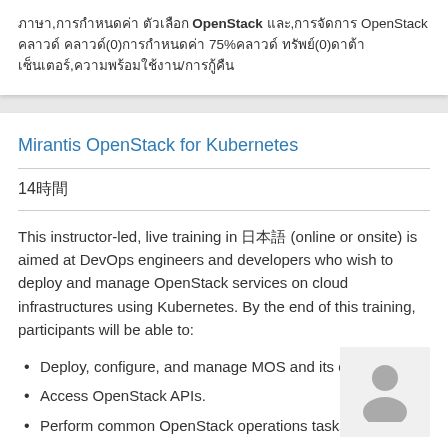ภาษา,การกำหนดค่า ตัวเลือก OpenStack และ,การจัดการ OpenStack คลาวด์ คลาวด์(0)การกำหนดค่า 75%คลาวด์ ทรัพย์(0)ดาต้า เซ็นเตอร์,ความพร้อมใช้งาน/การกู้คืน
Mirantis OpenStack for Kubernetes
14時間
This instructor-led, live training in 日本語 (online or onsite) is aimed at DevOps engineers and developers who wish to deploy and manage OpenStack services on cloud infrastructures using Kubernetes. By the end of this training, participants will be able to:
Deploy, configure, and manage MOS and its components.
Access OpenStack APIs.
Perform common OpenStack operations tasks
[Figure (illustration): Person/user avatar icon in gray]